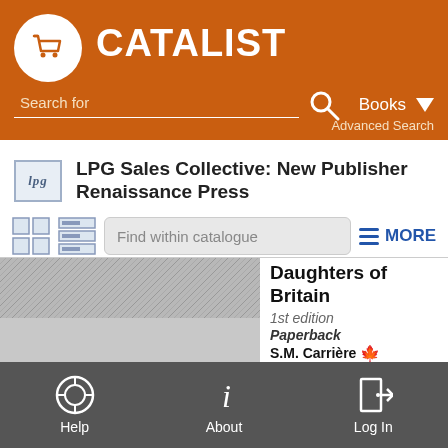CATALIST — Search for Books — Advanced Search
LPG Sales Collective: New Publisher Renaissance Press
[Figure (screenshot): Find within catalogue search input with grid/list view toggles and MORE button]
Daughters of Britain
1st edition
Paperback
S.M. Carrière
9781987963229
$20.00
FICTION
Help   About   Log In